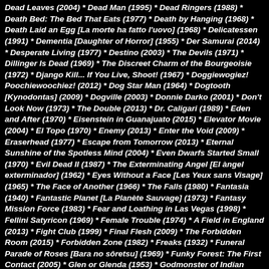Dead Leaves (2004) * Dead Man (1995) * Dead Ringers (1988) * Death Bed: The Bed That Eats (1977) * Death by Hanging (1968) * Death Laid an Egg [La morte ha fatto l'uovo] (1968) * Delicatessen (1991) * Dementia [Daughter of Horror] (1955) * Der Samurai (2014) * Desperate Living (1977) * Destino (2003) * The Devils (1971) * Dillinger Is Dead (1969) * The Discreet Charm of the Bourgeoisie (1972) * Django Kill... If You Live, Shoot! (1967) * Doggiewogiez! Poochiewoochiez! (2012) * Dog Star Man (1964) * Dogtooth [Kynodontas] (2009) * Dogville (2003) * Donnie Darko (2001) * Don't Look Now (1973) * The Double (2013) * Dr. Caligari (1989) * Eden and After (1970) * Eisenstein in Guanajuato (2015) * Elevator Movie (2004) * El Topo (1970) * Enemy (2013) * Enter the Void (2009) * Eraserhead (1977) * Escape from Tomorrow (2013) * Eternal Sunshine of the Spotless Mind (2004) * Even Dwarfs Started Small (1970) * Evil Dead II (1987) * The Exterminating Angel [El àngel exterminador] (1962) * Eyes Without a Face [Les Yeux sans Visage] (1965) * The Face of Another (1966) * The Falls (1980) * Fantasia (1940) * Fantastic Planet [La Planète Sauvage] (1973) * Fantasy Mission Force (1983) * Fear and Loathing in Las Vegas (1998) * Fellini Satyricon (1969) * Female Trouble (1974) * A Field in England (2013) * Fight Club (1999) * Final Flesh (2009) * The Forbidden Room (2015) * Forbidden Zone (1982) * Freaks (1932) * Funeral Parade of Roses [Bara no sôretsu] (1969) * Funky Forest: The First Contact (2005) * Glen or Glenda (1953) * Godmonster of Indian Flats (1973) * Goke, Body Snatcher from Hell (1968) * Goodbye Uncle Tom (1971) * Gothic (1986) * Gozu (2003) * La Grande Bouffe (1973) * Greaser's Palace (1972) * The Greasy Strangler (2016) * Gummo (1997) * Häxan [Witchcraft Through the Ages] (1922) * Head (1968) * Heavenly Creatures (1994) * Hedwig and the